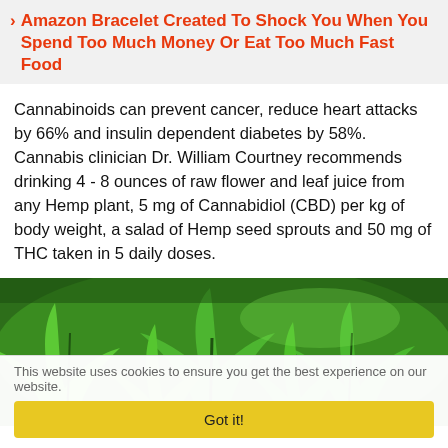Amazon Bracelet Created To Shock You When You Spend Too Much Money Or Eat Too Much Fast Food
Cannabinoids can prevent cancer, reduce heart attacks by 66% and insulin dependent diabetes by 58%. Cannabis clinician Dr. William Courtney recommends drinking 4 - 8 ounces of raw flower and leaf juice from any Hemp plant, 5 mg of Cannabidiol (CBD) per kg of body weight, a salad of Hemp seed sprouts and 50 mg of THC taken in 5 daily doses.
[Figure (photo): Close-up photo of green hemp/cannabis plant leaves with serrated edges, lush green foliage filling the frame]
This website uses cookies to ensure you get the best experience on our website.
Got it!